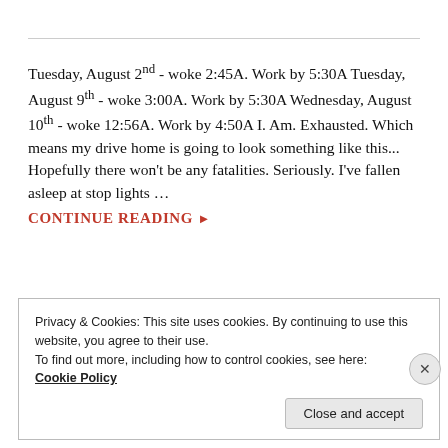Tuesday, August 2nd - woke 2:45A. Work by 5:30A Tuesday, August 9th - woke 3:00A. Work by 5:30A Wednesday, August 10th - woke 12:56A. Work by 4:50A I. Am. Exhausted. Which means my drive home is going to look something like this... Hopefully there won't be any fatalities. Seriously. I've fallen asleep at stop lights ...
CONTINUE READING ▸
Privacy & Cookies: This site uses cookies. By continuing to use this website, you agree to their use.
To find out more, including how to control cookies, see here: Cookie Policy